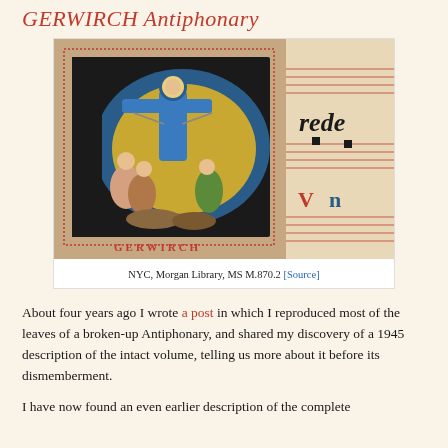GERWIRCH Antiphonary
[Figure (photo): Illuminated manuscript page showing a decorated initial D with a figure of Christ in blue robes with arms outstretched, surrounded by smaller figures, with medieval musical notation visible on the right side. Text 'GERWIRCH' appears at bottom of the manuscript image.]
NYC, Morgan Library, MS M.870.2 [Source]
About four years ago I wrote a post in which I reproduced most of the leaves of a broken-up Antiphonary, and shared my discovery of a 1945 description of the intact volume, telling us more about it before its dismemberment.
I have now found an even earlier description of the complete